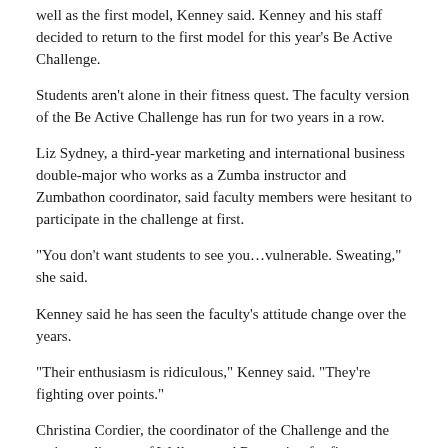well as the first model, Kenney said. Kenney and his staff decided to return to the first model for this year's Be Active Challenge.
Students aren't alone in their fitness quest. The faculty version of the Be Active Challenge has run for two years in a row.
Liz Sydney, a third-year marketing and international business double-major who works as a Zumba instructor and Zumbathon coordinator, said faculty members were hesitant to participate in the challenge at first.
“You don’t want students to see you…vulnerable. Sweating,” she said.
Kenney said he has seen the faculty’s attitude change over the years.
“Their enthusiasm is ridiculous,” Kenney said. “They’re fighting over points.”
Christina Cordier, the coordinator of the Challenge and the assistant director of Wellness and Recreation for fitness, put together a series of classes just for faculty and staff.